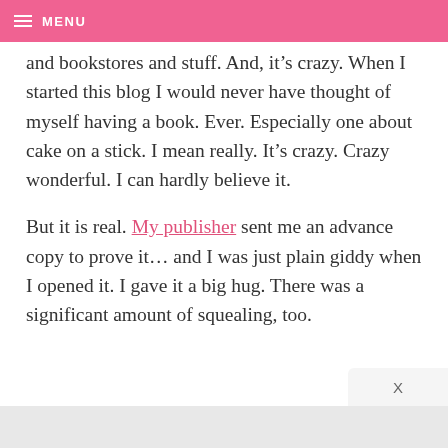MENU
and bookstores and stuff. And, it’s crazy. When I started this blog I would never have thought of myself having a book. Ever. Especially one about cake on a stick. I mean really. It’s crazy. Crazy wonderful. I can hardly believe it.
But it is real. My publisher sent me an advance copy to prove it… and I was just plain giddy when I opened it. I gave it a big hug. There was a significant amount of squealing, too.